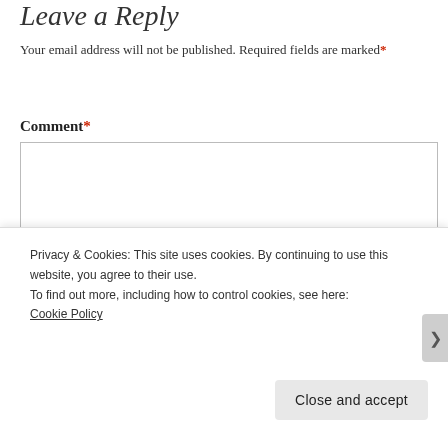Leave a Reply
Your email address will not be published. Required fields are marked*
Comment*
[Figure (screenshot): Empty comment text area input box with resize handle]
Privacy & Cookies: This site uses cookies. By continuing to use this website, you agree to their use.
To find out more, including how to control cookies, see here: Cookie Policy
Close and accept